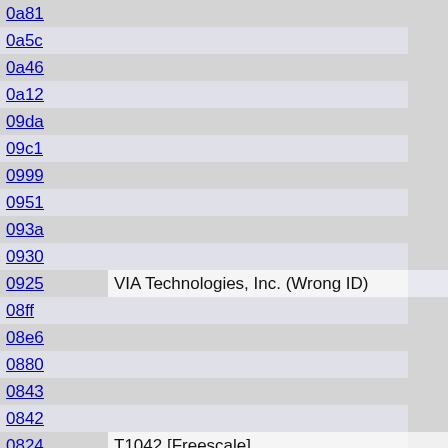| ID | Name |  |
| --- | --- | --- |
| 0a81 |  |  |
| 0a5c |  |  |
| 0a46 |  |  |
| 0a12 |  |  |
| 09da |  |  |
| 09c1 |  |  |
| 0999 |  |  |
| 0951 |  |  |
| 093a |  |  |
| 0930 |  |  |
| 0925 | VIA Technologies, Inc. (Wrong ID) |  |
| 08ff |  |  |
| 08e6 |  |  |
| 0880 |  |  |
| 0843 |  |  |
| 0842 |  |  |
| 0824 | T1042 [Freescale] |  |
| 080b |  |  |
| 07e2 |  |  |
| 07d1 | D-Link System Inc |  |
| 07d0 |  |  |